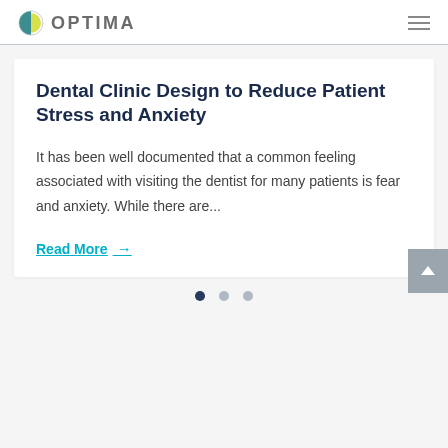OPTIMA
Dental Clinic Design to Reduce Patient Stress and Anxiety
It has been well documented that a common feeling associated with visiting the dentist for many patients is fear and anxiety. While there are...
Read More →